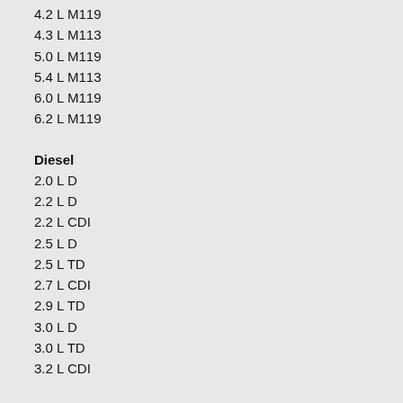4.2 L M119
4.3 L M113
5.0 L M119
5.4 L M113
6.0 L M119
6.2 L M119
Diesel
2.0 L D
2.2 L D
2.2 L CDI
2.5 L D
2.5 L TD
2.7 L CDI
2.9 L TD
3.0 L D
3.0 L TD
3.2 L CDI
W210 Transmission
5 and 6 speed